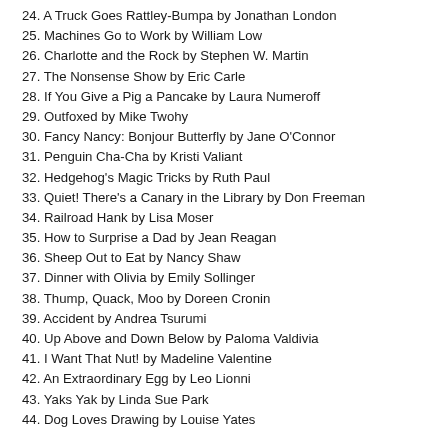24. A Truck Goes Rattley-Bumpa by Jonathan London
25. Machines Go to Work by William Low
26. Charlotte and the Rock by Stephen W. Martin
27. The Nonsense Show by Eric Carle
28. If You Give a Pig a Pancake by Laura Numeroff
29. Outfoxed by Mike Twohy
30. Fancy Nancy: Bonjour Butterfly by Jane O'Connor
31. Penguin Cha-Cha by Kristi Valiant
32. Hedgehog's Magic Tricks by Ruth Paul
33. Quiet! There's a Canary in the Library by Don Freeman
34. Railroad Hank by Lisa Moser
35. How to Surprise a Dad by Jean Reagan
36. Sheep Out to Eat by Nancy Shaw
37. Dinner with Olivia by Emily Sollinger
38. Thump, Quack, Moo by Doreen Cronin
39. Accident by Andrea Tsurumi
40. Up Above and Down Below by Paloma Valdivia
41. I Want That Nut! by Madeline Valentine
42. An Extraordinary Egg by Leo Lionni
43. Yaks Yak by Linda Sue Park
44. Dog Loves Drawing by Louise Yates